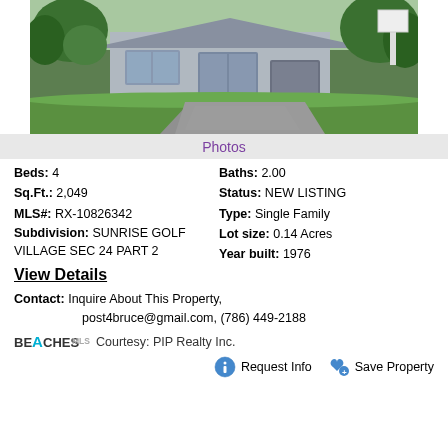[Figure (photo): Exterior photo of a single-family home with gray facade, green lawn, and concrete driveway with lush tropical vegetation]
Photos
Beds: 4   Baths: 2.00
Sq.Ft.: 2,049   Status: NEW LISTING
MLS#: RX-10826342   Type: Single Family
Subdivision: SUNRISE GOLF VILLAGE SEC 24 PART 2   Lot size: 0.14 Acres   Year built: 1976
View Details
Contact: Inquire About This Property, post4bruce@gmail.com, (786) 449-2188
BEACHES MLS Courtesy: PIP Realty Inc.
Request Info   Save Property